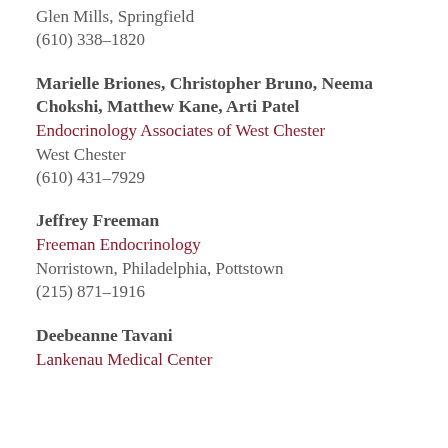Glen Mills, Springfield
(610) 338–1820
Marielle Briones, Christopher Bruno, Neema Chokshi, Matthew Kane, Arti Patel
Endocrinology Associates of West Chester
West Chester
(610) 431–7929
Jeffrey Freeman
Freeman Endocrinology
Norristown, Philadelphia, Pottstown
(215) 871–1916
Deebeanne Tavani
Lankenau Medical Center